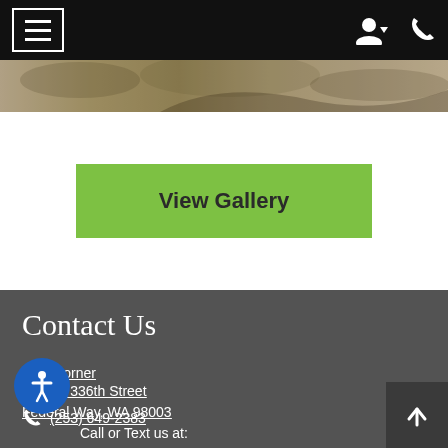Navigation bar with menu button, user icon, and phone icon
[Figure (photo): Partial landscape/nature photo strip visible below navigation bar]
View Gallery
Contact Us
Kitts Corner
1201 S 336th Street
Federal Way, WA 98003
Call or Text us at:
(253) 649-2383